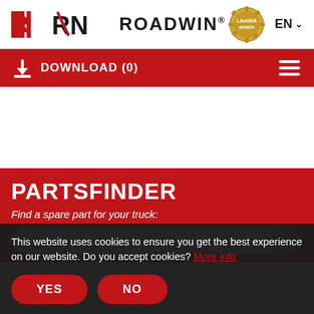ROADWIN® — EN — LauGEA badge
DOWNLOAD (0)
PARTSFINDER
Find a spare part for your truck:
This website uses cookies to ensure you get the best experience on our website. Do you accept cookies? More info
YES
NO